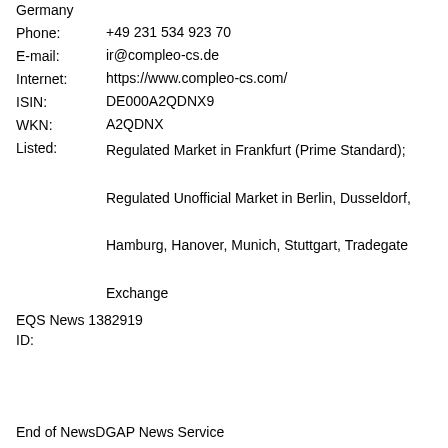Germany
Phone:    +49 231 534 923 70
E-mail:    ir@compleo-cs.de
Internet:   https://www.compleo-cs.com/
ISIN:      DE000A2QDNX9
WKN:      A2QDNX
Listed:    Regulated Market in Frankfurt (Prime Standard); Regulated Unofficial Market in Berlin, Dusseldorf, Hamburg, Hanover, Munich, Stuttgart, Tradegate Exchange
EQS News 1382919
ID:
End of NewsDGAP News Service